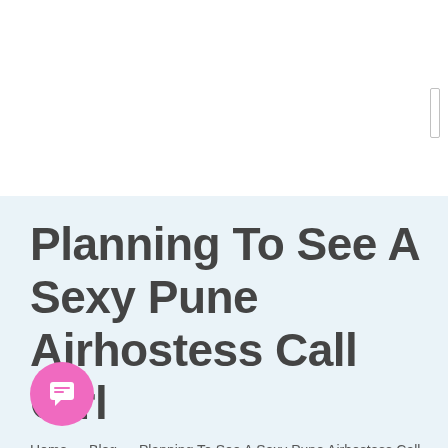Planning To See A Sexy Pune Airhostess Call Girl
Home » Blog » Planning To See A Sexy Pune Airhostess Call Girl